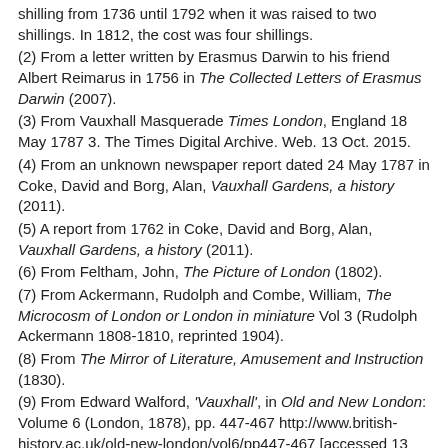shilling from 1736 until 1792 when it was raised to two shillings. In 1812, the cost was four shillings.
(2) From a letter written by Erasmus Darwin to his friend Albert Reimarus in 1756 in The Collected Letters of Erasmus Darwin (2007).
(3) From Vauxhall Masquerade Times London, England 18 May 1787 3. The Times Digital Archive. Web. 13 Oct. 2015.
(4) From an unknown newspaper report dated 24 May 1787 in Coke, David and Borg, Alan, Vauxhall Gardens, a history (2011).
(5) A report from 1762 in Coke, David and Borg, Alan, Vauxhall Gardens, a history (2011).
(6) From Feltham, John, The Picture of London (1802).
(7) From Ackermann, Rudolph and Combe, William, The Microcosm of London or London in miniature Vol 3 (Rudolph Ackermann 1808-1810, reprinted 1904).
(8) From The Mirror of Literature, Amusement and Instruction (1830).
(9) From Edward Walford, 'Vauxhall', in Old and New London: Volume 6 (London, 1878), pp. 447-467 http://www.british-history.ac.uk/old-new-london/vol6/pp447-467 [accessed 13 October 2015].